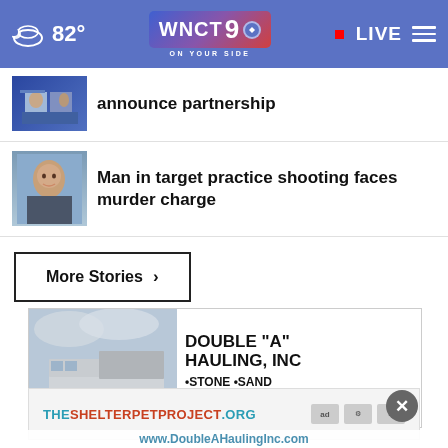82° WNCT9 ON YOUR SIDE • LIVE
announce partnership
Man in target practice shooting faces murder charge
More Stories ›
[Figure (photo): Advertisement for Double "A" Hauling, Inc - Stone, Sand, Topsoil, Mulch with dump truck image]
Need a Haul?
THESHELTERPETPROJECT.ORG
www.DoubleAHaulingInc.com